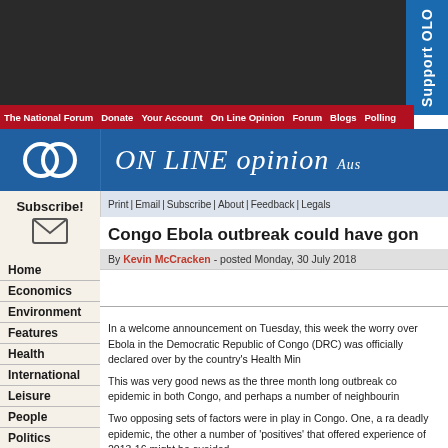ON LINE opinion Australia
The National Forum | Donate | Your Account | On Line Opinion | Forum | Blogs | Polling
Print | Email | Subscribe | About | Feedback | Legals
Congo Ebola outbreak could have gone worse
By Kevin McCracken - posted Monday, 30 July 2018
In a welcome announcement on Tuesday, this week the worry over Ebola in the Democratic Republic of Congo (DRC) was officially declared over by the country's Health Min...
This was very good news as the three month long outbreak could have sparked a much larger epidemic in both Congo, and perhaps a number of neighbouring...
Two opposing sets of factors were in play in Congo. One, a range of 'negatives' that could have led to a deadly epidemic, the other a number of 'positives' that offered hope a repeat of the disaster experience of 2013-16 might be avoided.
Subscribe!
Home
Economics
Environment
Features
Health
International
Leisure
People
Politics
Technology